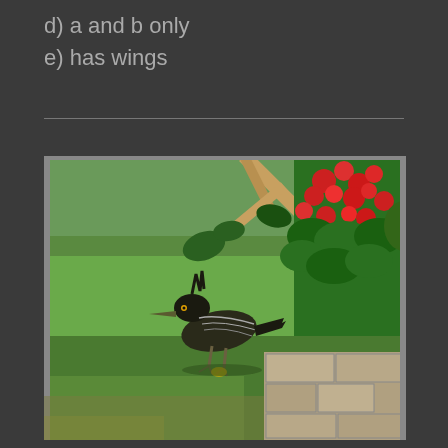d) a and b only
e) has wings
[Figure (photo): A roadrunner bird standing on grass near a flowering bush with red flowers and a stone retaining wall in the background. The bird has a long beak, streaked black and white plumage, and a distinctive crest. The lawn is green and lush.]